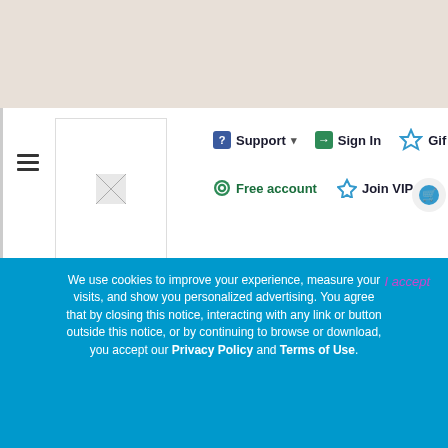Support | Sign In | Gift | Free account | Join VIP
[Figure (screenshot): A colorful fantasy/simulation game scene showing an autumn decorated house with lanterns, carved pumpkins, stained glass windows, wooden stairs, and fall foliage.]
We use cookies to improve your experience, measure your visits, and show you personalized advertising. You agree that by closing this notice, interacting with any link or button outside this notice, or by continuing to browse or download, you accept our Privacy Policy and Terms of Use.